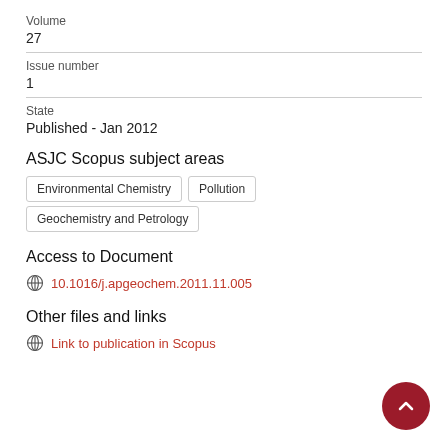Volume
27
Issue number
1
State
Published - Jan 2012
ASJC Scopus subject areas
Environmental Chemistry
Pollution
Geochemistry and Petrology
Access to Document
10.1016/j.apgeochem.2011.11.005
Other files and links
Link to publication in Scopus